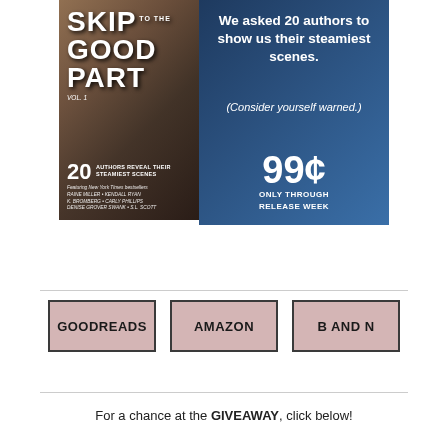[Figure (illustration): Book advertisement banner for 'Skip to the Good Part Vol. 1' featuring 20 authors' steamiest scenes. Dark blue right panel with text: 'We asked 20 authors to show us their steamiest scenes. (Consider yourself warned.) 99¢ ONLY THROUGH RELEASE WEEK'. Left panel shows book cover with title and author names including Raine Miller, Kendall Ryan, K. Bromberg, Carly Phillips, Denise Grover Swank, S.L. Scott.]
[Figure (other): Three retailer buttons: GOODREADS, AMAZON, B AND N, each with pink/mauve background and dark border]
For a chance at the GIVEAWAY, click below!